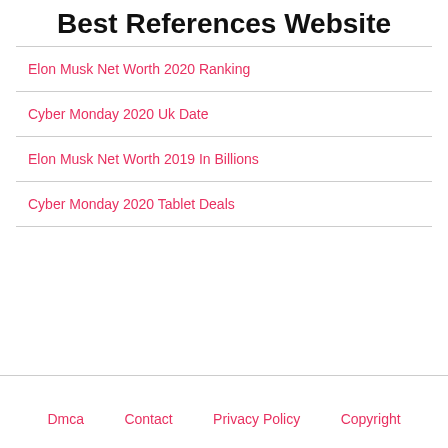Best References Website
Elon Musk Net Worth 2020 Ranking
Cyber Monday 2020 Uk Date
Elon Musk Net Worth 2019 In Billions
Cyber Monday 2020 Tablet Deals
Dmca   Contact   Privacy Policy   Copyright